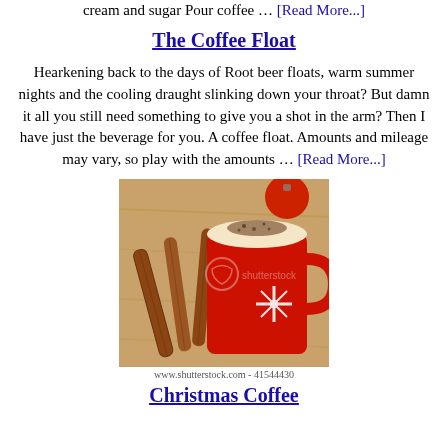cream and sugar Pour coffee … [Read More...]
The Coffee Float
Hearkening back to the days of Root beer floats, warm summer nights and the cooling draught slinking down your throat? But damn it all you still need something to give you a shot in the arm? Then I have just the beverage for you. A coffee float. Amounts and mileage may vary, so play with the amounts … [Read More...]
[Figure (photo): A red Christmas mug with a snowflake design filled with a frothy coffee drink topped with cocoa powder, with cinnamon sticks leaning against it on a wooden surface.]
www.shutterstock.com - 41544430
Christmas Coffee